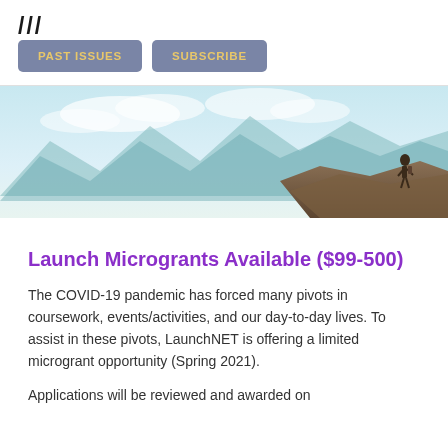/// PAST ISSUES SUBSCRIBE
[Figure (photo): A person standing on a rocky cliff edge with mountains and cloudy sky in the background, scenic outdoor landscape.]
Launch Microgrants Available ($99-500)
The COVID-19 pandemic has forced many pivots in coursework, events/activities, and our day-to-day lives. To assist in these pivots, LaunchNET is offering a limited microgrant opportunity (Spring 2021).
Applications will be reviewed and awarded on